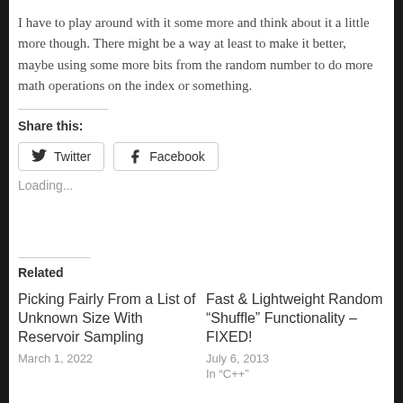I have to play around with it some more and think about it a little more though. There might be a way at least to make it better, maybe using some more bits from the random number to do more math operations on the index or something.
Share this:
Twitter
Facebook
Loading...
Related
Picking Fairly From a List of Unknown Size With Reservoir Sampling
March 1, 2022
Fast & Lightweight Random “Shuffle” Functionality – FIXED!
July 6, 2013
In “C++”